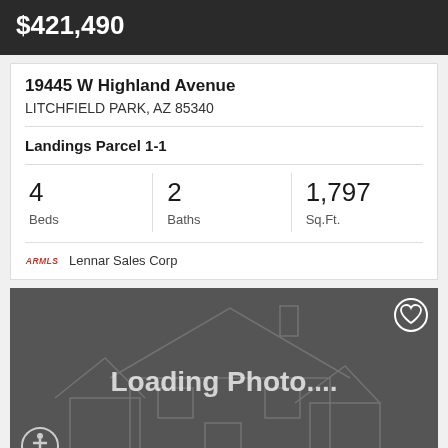$421,490
19445 W Highland Avenue
LITCHFIELD PARK, AZ 85340
Landings Parcel 1-1
4 Beds
2 Baths
1,797 Sq.Ft.
ARMLS  Lennar Sales Corp
[Figure (photo): Loading Photo... placeholder with house outline graphic on dark grey background, heart icon top right, accessibility icon bottom left]